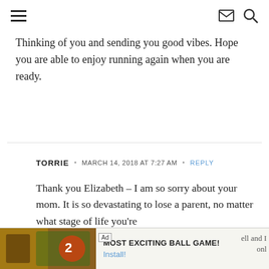Navigation header with hamburger menu, envelope icon, and search icon
Thinking of you and sending you good vibes. Hope you are able to enjoy running again when you are ready.
TORRIE • MARCH 14, 2018 AT 7:27 AM • REPLY
Thank you Elizabeth – I am so sorry about your mom. It is so devastating to lose a parent, no matter what stage of life you're
[Figure (screenshot): Ad bar at bottom: 'MOST EXCITING BALL GAME!' with Install button, partial text 'ell and I' and 'onl' visible on right side]